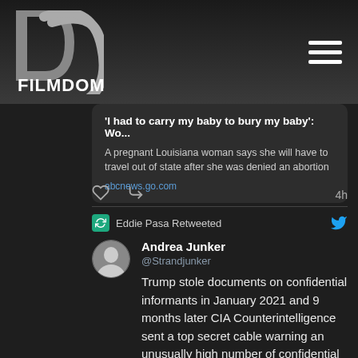[Figure (logo): DC Filmdom logo with large DC letters in gray and FILMDOM text in white]
'I had to carry my baby to bury my baby': Wo... A pregnant Louisiana woman says she will have to travel out of state after she was denied an abortion abcnews.go.com
4h
Eddie Pasa Retweeted
Andrea Junker @Strandjunker
Trump stole documents on confidential informants in January 2021 and 9 months later CIA Counterintelligence sent a top secret cable warning an unusually high number of confidential informants had been killed, captured, or compromised. I feel like more